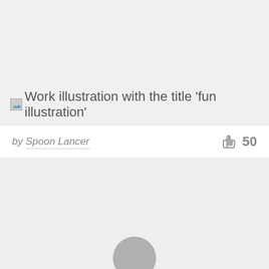[Figure (screenshot): Top card area with gray placeholder background representing an artwork thumbnail]
Work illustration with the title 'fun illustration'
by Spoon Lancer
50
[Figure (screenshot): Bottom card section with gray background and partial circular avatar at the bottom center]